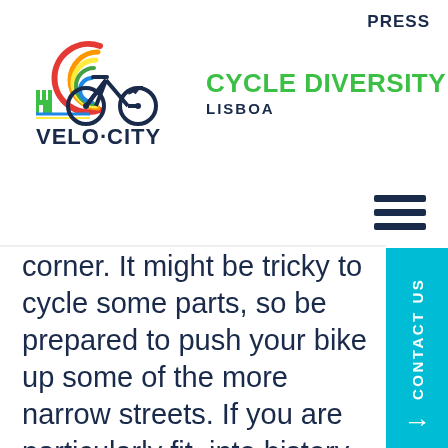PRESS
[Figure (logo): Velo-City Lisboa conference logo with bicycle and colorful swoosh design, text reads VELO·CITY]
CYCLE DIVERSITY LISBOA
corner. It might be tricky to cycle some parts, so be prepared to push your bike up some of the more narrow streets. If you are particularly fit, into history, or eager for an incredible view, then there is St.George's castle at the top of the hill that makes for a